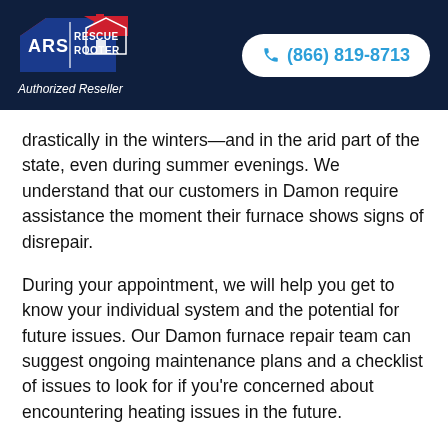[Figure (logo): ARS Rescue Rooter logo with red house icon and blue/red banner]
Authorized Reseller
(866) 819-8713
drastically in the winters—and in the arid part of the state, even during summer evenings. We understand that our customers in Damon require assistance the moment their furnace shows signs of disrepair.
During your appointment, we will help you get to know your individual system and the potential for future issues. Our Damon furnace repair team can suggest ongoing maintenance plans and a checklist of issues to look for if you're concerned about encountering heating issues in the future.
Not sure if your heating system is working to its highest efficiency? Speak to our specialists about seasonal tune-ups and standard steps to take on your own each fall